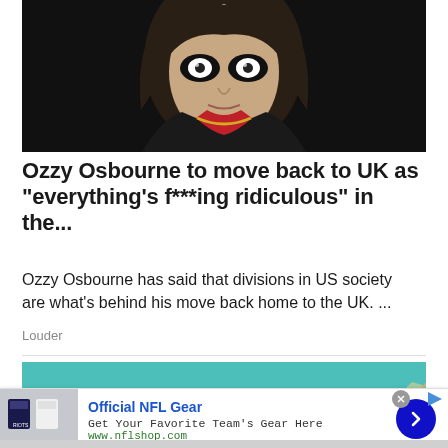[Figure (photo): Photo of Ozzy Osbourne with dramatic eye makeup, long dark hair, wearing black jacket with red scarf and gold chain necklace, against dark background]
Ozzy Osbourne to move back to UK as "everything's f***ing ridiculous" in the...
Ozzy Osbourne has said that divisions in US society are what's behind his move back home to the UK. ...
Louder
[Figure (illustration): Partial image with teal background showing a hand illustration]
Official NFL Gear
Get Your Favorite Team's Gear Here
www.nflshop.com